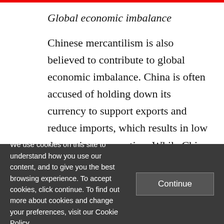Global economic imbalance
Chinese mercantilism is also believed to contribute to global economic imbalance. China is often accused of holding down its currency to support exports and reduce imports, which results in low domestic consumption. While China may not be actively manipulating its currency today as it used to do, there are still concerns that its
We use cookies on this site to understand how you use our content, and to give you the best browsing experience. To accept cookies, click continue. To find out more about cookies and change your preferences, visit our Cookie Policy.